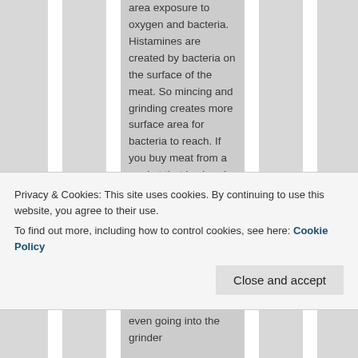area exposure to oxygen and bacteria. Histamines are created by bacteria on the surface of the meat. So mincing and grinding creates more surface area for bacteria to reach. If you buy meat from a market that is already ground, it has a sour taste. But if you buy a whole piece of chuck roast from the market and grind it fresh yourself just before eating, it has no sour taste. Plus, butchers often
Privacy & Cookies: This site uses cookies. By continuing to use this website, you agree to their use. To find out more, including how to control cookies, see here: Cookie Policy
even going into the grinder